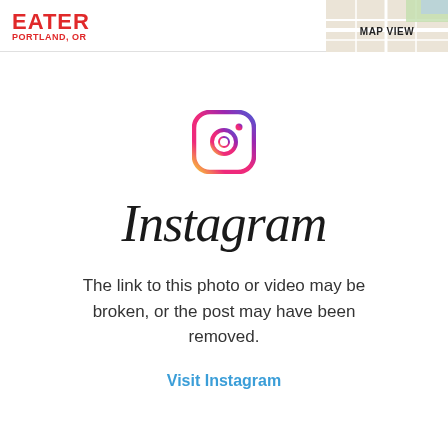EATER PORTLAND, OR
[Figure (screenshot): Map view thumbnail in top right corner of the Eater Portland header, showing a partial street map with text MAP VIEW]
[Figure (logo): Instagram logo icon — rounded square with camera outline, gradient from yellow/orange to pink/purple]
Instagram
The link to this photo or video may be broken, or the post may have been removed.
Visit Instagram